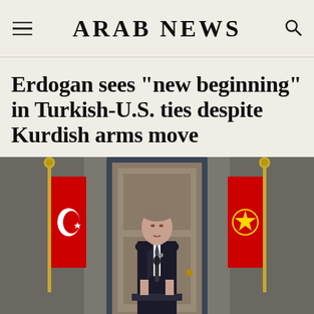ARAB NEWS
Erdogan sees "new beginning" in Turkish-U.S. ties despite Kurdish arms move
[Figure (photo): Turkish President Erdogan standing at a podium between two Turkish flags with presidential emblems, in front of a door inside a government building, wearing a dark suit.]